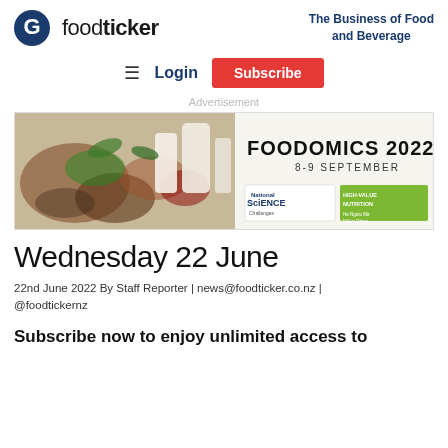foodticker — The Business of Food and Beverage
[Figure (logo): foodticker logo with circular G icon in dark blue, followed by 'food' in regular weight and 'ticker' in bold, dark text]
The Business of Food and Beverage
≡ Login Subscribe
Advertisement
[Figure (infographic): Foodomics 2022 conference banner showing various foods including vegetables, meat, dairy and the text 'FOODOMICS 2022 8-9 SEPTEMBER' with National Science Challenges High-Value Nutrition logo]
Wednesday 22 June
22nd June 2022 By Staff Reporter | news@foodticker.co.nz | @foodtickernz
Subscribe now to enjoy unlimited access to